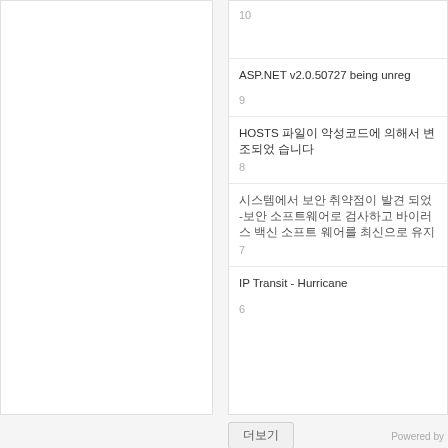10
ASP.NET v2.0.50727 being unreg
9
HOSTS 파일이 악성코드에 의해서 변조되었 습니다
8
시스템에서 보안 취약점이 발견 되었 -보안 소프트웨어로 검사하고 바이러스 백신 소프트 웨어를 최신으로 유지
7
IP Transit - Hurricane
6
더보기
Powered by